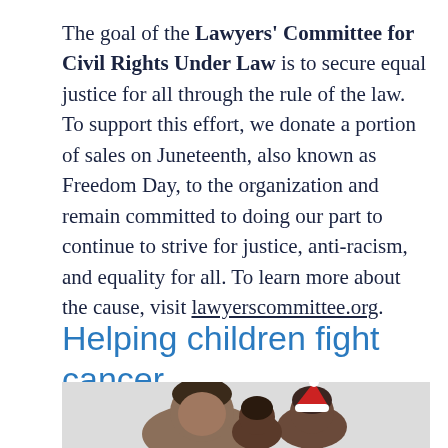The goal of the Lawyers' Committee for Civil Rights Under Law is to secure equal justice for all through the rule of the law. To support this effort, we donate a portion of sales on Juneteenth, also known as Freedom Day, to the organization and remain committed to doing our part to continue to strive for justice, anti-racism, and equality for all. To learn more about the cause, visit lawyerscommittee.org.
Helping children fight cancer
[Figure (photo): Photo of a woman and children, one wearing a red Santa hat, smiling together against a light background.]